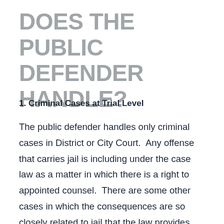DOES THE PUBLIC DEFENDER HANDLE?
1. Criminal Cases at Trial Level
The public defender handles only criminal cases in District or City Court.  Any offense that carries jail is including under the case law as a matter in which there is a right to appointed counsel.  There are some other cases in which the consequences are so closely related to jail that the law provides appointed counsel as well.  But this does not include divorces, civil damage suits or suits for